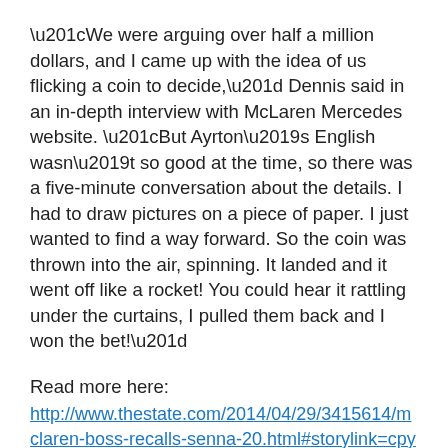“We were arguing over half a million dollars, and I came up with the idea of us flicking a coin to decide,” Dennis said in an in-depth interview with McLaren Mercedes website. “But Ayrton’s English wasn’t so good at the time, so there was a five-minute conversation about the details. I had to draw pictures on a piece of paper. I just wanted to find a way forward. So the coin was thrown into the air, spinning. It landed and it went off like a rocket! You could hear it rattling under the curtains, I pulled them back and I won the bet!”
Read more here:
http://www.thestate.com/2014/04/29/3415614/mclaren-boss-recalls-senna-20.html#storylink=cpy